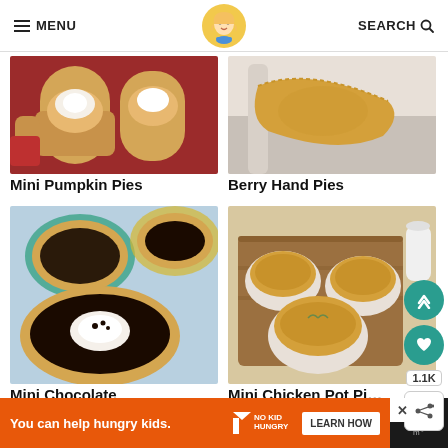MENU | [Logo] | SEARCH
[Figure (photo): Mini Pumpkin Pies - small golden pastry shells with whipped cream topping on red background]
Mini Pumpkin Pies
[Figure (photo): Berry Hand Pies - golden pastry hand pie on white baking dish]
Berry Hand Pies
[Figure (photo): Mini Chocolate Cream Pies - small chocolate pies in scalloped crusts with whipped cream and chocolate shavings]
Mini Chocolate Cream Pies
[Figure (photo): Mini Chicken Pot Pies - golden baked mini pot pies in white ramekins on wooden board]
Mini Chicken Pot Pi...
1.1K
You can help hungry kids.  NO KID HUNGRY  LEARN HOW